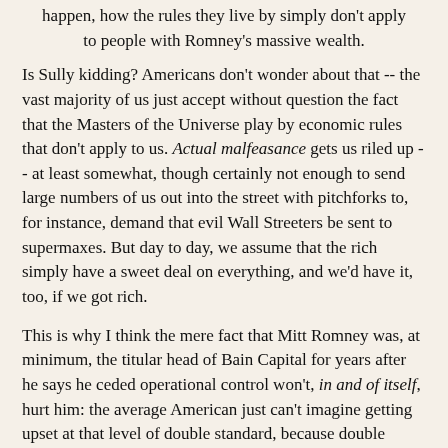happen, how the rules they live by simply don't apply to people with Romney's massive wealth.
Is Sully kidding? Americans don't wonder about that -- the vast majority of us just accept without question the fact that the Masters of the Universe play by economic rules that don't apply to us. Actual malfeasance gets us riled up -- at least somewhat, though certainly not enough to send large numbers of us out into the street with pitchforks to, for instance, demand that evil Wall Streeters be sent to supermaxes. But day to day, we assume that the rich simply have a sweet deal on everything, and we'd have it, too, if we got rich.
This is why I think the mere fact that Mitt Romney was, at minimum, the titular head of Bain Capital for years after he says he ceded operational control won't, in and of itself, hurt him: the average American just can't imagine getting upset at that level of double standard, because double standards of that kind are rife. Average Americans, in their own lives, assume that failing to cross the t's and dot the i's could mean that, say, they'll lose their house -- but they also assume that a battery of high-powered lawyers could find a way to prove that it was technically OK for Mitt Romney to acknowledge some involvement in Bain-related operations after